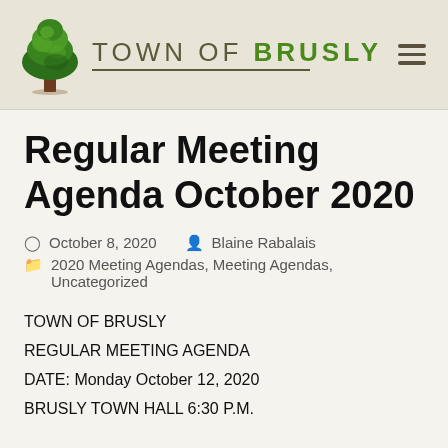TOWN OF BRUSLY
Regular Meeting Agenda October 2020
October 8, 2020   Blaine Rabalais   2020 Meeting Agendas, Meeting Agendas, Uncategorized
TOWN OF BRUSLY
REGULAR MEETING AGENDA
DATE: Monday October 12, 2020
BRUSLY TOWN HALL 6:30 P.M.